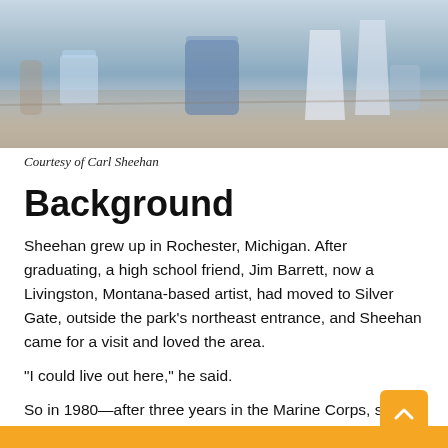[Figure (photo): A photo of an art studio or workspace with plastic containers, cups, and art materials on a surface, light blue tones, credited to Carl Sheehan.]
Courtesy of Carl Sheehan
Background
Sheehan grew up in Rochester, Michigan. After graduating, a high school friend, Jim Barrett, now a Livingston, Montana-based artist, had moved to Silver Gate, outside the park’s northeast entrance, and Sheehan came for a visit and loved the area.
“I could live out here,” he said.
So in 1980—after three years in the Marine Corps, some college classes at a local community college and Grand Valley State College in Grand Rapids and completing his degree in art and ceramics at Montana State University in Bozeman in 1977—he and Barrett are at